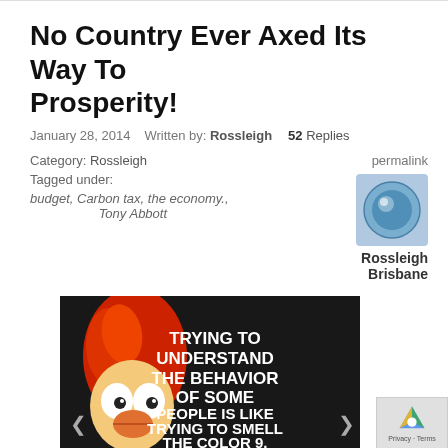No Country Ever Axed Its Way To Prosperity!
January 28, 2014    Written by: Rossleigh    52 Replies
Category: Rossleigh
Tagged under:
budget, Carbon tax, the economy., Tony Abbott
permalink
[Figure (photo): Avatar photo of Rossleigh Brisbane — a blue marble/glass orb]
Rossleigh Brisbane
[Figure (photo): Meme image: Beaker muppet with orange hair on left, white bold text on dark background reading: TRYING TO UNDERSTAND THE BEHAVIOR OF SOME PEOPLE IS LIKE TRYING TO SMELL THE COLOR 9. Navigation arrows on left and right sides.]